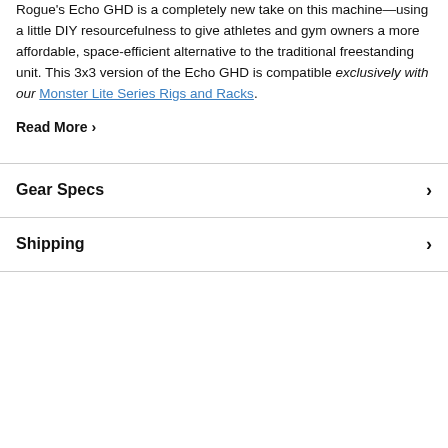Rogue's Echo GHD is a completely new take on this machine—using a little DIY resourcefulness to give athletes and gym owners a more affordable, space-efficient alternative to the traditional freestanding unit. This 3x3 version of the Echo GHD is compatible exclusively with our Monster Lite Series Rigs and Racks.
Read More >
Gear Specs
Shipping